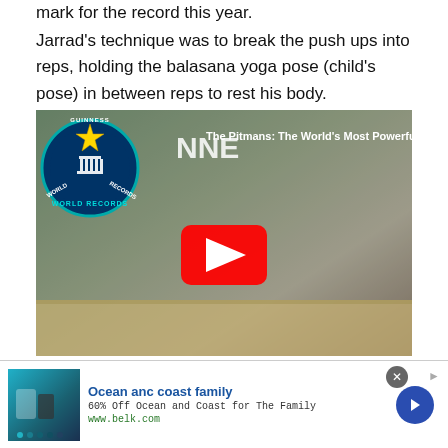mark for the record this year.
Jarrad's technique was to break the push ups into reps, holding the balasana yoga pose (child's pose) in between reps to rest his body.
[Figure (screenshot): YouTube video thumbnail showing Guinness World Records logo and two people, titled 'The Pitmans: The World's Most Powerful Coup' with a red play button in the center.]
[Figure (other): Advertisement banner: 'Ocean anc coast family' - 60% Off Ocean and Coast for The Family, www.belk.com, with image of swimwear and a blue arrow button.]